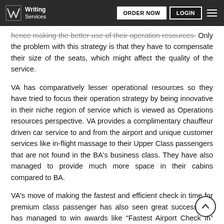Writing Services | ORDER NOW | LOGIN
hence making the better use of their operation resources. Only the problem with this strategy is that they have to compensate their size of the seats, which might affect the quality of the service.
VA has comparatively lesser operational resources so they have tried to focus their operation strategy by being innovative in their niche region of service which is viewed as Operations resources perspective. VA provides a complimentary chauffeur driven car service to and from the airport and unique customer services like in-flight massage to their Upper Class passengers that are not found in the BA's business class. They have also managed to provide much more space in their cabins compared to BA.
VA's move of making the fastest and efficient check in time for premium class passenger has also seen great success and has managed to win awards like “Fastest Airport Check In” from the Wallpaper Awards. They have managed to pick the part of their supply chain, which was slowing down the transformation process and improved it for better customer satisfaction. This type of decision is often viewed as Bottom Up Perspective